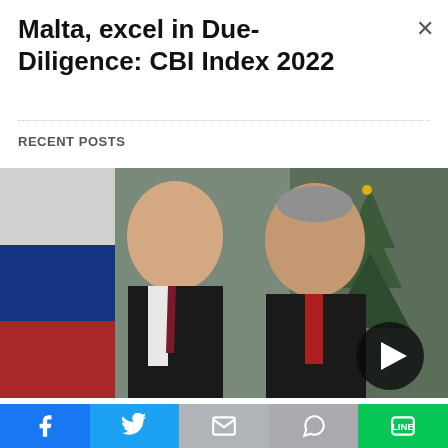Malta, excel in Due-Diligence: CBI Index 2022
RECENT POSTS
[Figure (photo): Two men in dark suits standing side by side. On the left is a man with dark hair, on the right is a man with grey hair wearing a red lanyard. A Russian flag is visible on the left and a Christmas tree on the right background.]
Facebook | Twitter | M (Email) | WhatsApp | LINE